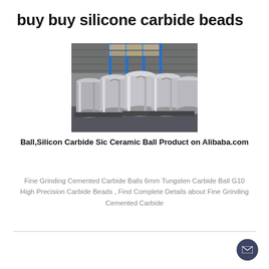buy buy silicone carbide beads
[Figure (photo): Warehouse photo showing large cylindrical metallic/silver containers or tanks lined up on pallets inside an industrial storage facility with blue racking shelving in the background.]
Ball,Silicon Carbide Sic Ceramic Ball Product on Alibaba.com
Fine Grinding Cemented Carbide Balls 6mm Tungsten Carbide Ball G10 High Precision Carbide Beads , Find Complete Details about Fine Grinding Cemented Carbide